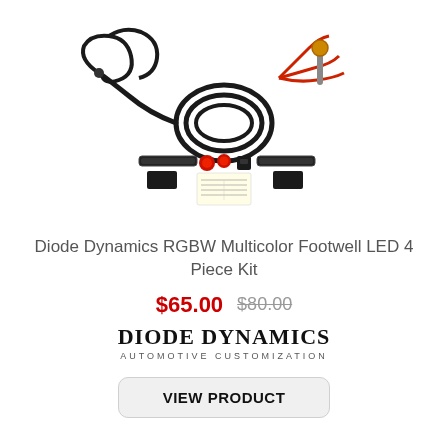[Figure (photo): Product photo of Diode Dynamics RGBW Multicolor Footwell LED 4 Piece Kit components including wiring harness, LED strips, connectors, switch and mounting accessories spread out on white background]
Diode Dynamics RGBW Multicolor Footwell LED 4 Piece Kit
$65.00  $80.00
[Figure (logo): Diode Dynamics Automotive Customization brand logo]
VIEW PRODUCT